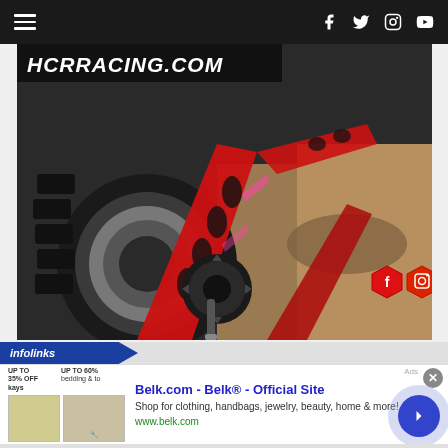Navigation bar with hamburger menu and social icons (Facebook, Twitter, Instagram, YouTube)
[Figure (photo): HCR Racing website screenshot showing red aftermarket ATV/UTV suspension arms and wheel close-up with Facebook and Instagram hexagon icons overlaid on photo]
infolinks
[Figure (screenshot): Belk.com advertisement - Belk® - Official Site. Shop for clothing, handbags, jewelry, beauty, home & more! www.belk.com]